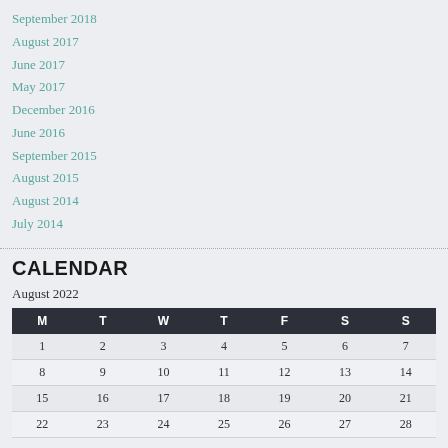September 2018
August 2017
June 2017
May 2017
December 2016
June 2016
September 2015
August 2015
August 2014
July 2014
CALENDAR
August 2022
| M | T | W | T | F | S | S |
| --- | --- | --- | --- | --- | --- | --- |
| 1 | 2 | 3 | 4 | 5 | 6 | 7 |
| 8 | 9 | 10 | 11 | 12 | 13 | 14 |
| 15 | 16 | 17 | 18 | 19 | 20 | 21 |
| 22 | 23 | 24 | 25 | 26 | 27 | 28 |